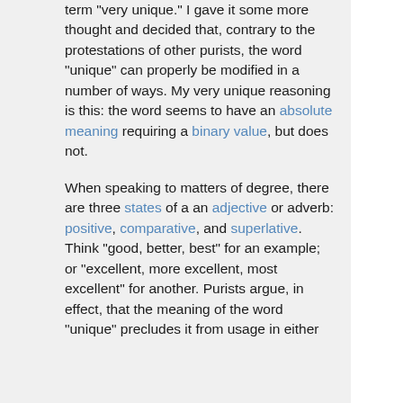term "very unique." I gave it some more thought and decided that, contrary to the protestations of other purists, the word "unique" can properly be modified in a number of ways. My very unique reasoning is this: the word seems to have an absolute meaning requiring a binary value, but does not.
When speaking to matters of degree, there are three states of a an adjective or adverb: positive, comparative, and superlative. Think "good, better, best" for an example; or "excellent, more excellent, most excellent" for another. Purists argue, in effect, that the meaning of the word "unique" precludes it from usage in either